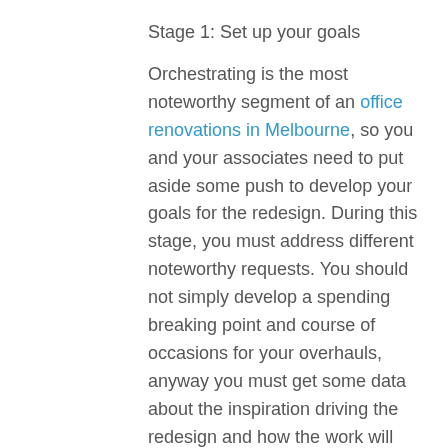Stage 1: Set up your goals
Orchestrating is the most noteworthy segment of an office renovations in Melbourne, so you and your associates need to put aside some push to develop your goals for the redesign. During this stage, you must address different noteworthy requests. You should not simply develop a spending breaking point and course of occasions for your overhauls, anyway you must get some data about the inspiration driving the redesign and how the work will spread out. For example, will you continue using your office during updates or will you move to a fleeting office? Do you need to place in advancement? It is sheltered to state